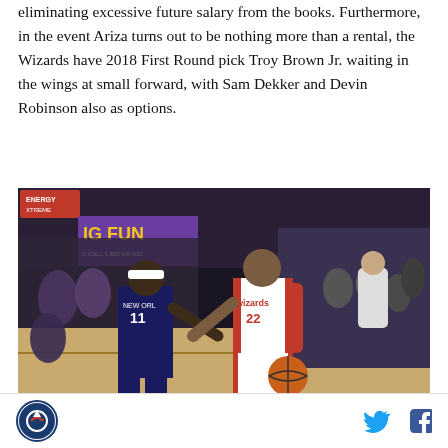eliminating excessive future salary from the books. Furthermore, in the event Ariza turns out to be nothing more than a rental, the Wizards have 2018 First Round pick Troy Brown Jr. waiting in the wings at small forward, with Sam Dekker and Devin Robinson also as options.
[Figure (photo): Basketball game photo showing a Washington Wizards player wearing #22 dribbling the ball while being guarded by a New Orleans Pelicans player wearing #11, in an indoor arena with crowd in background.]
Logo | Twitter icon | Facebook icon